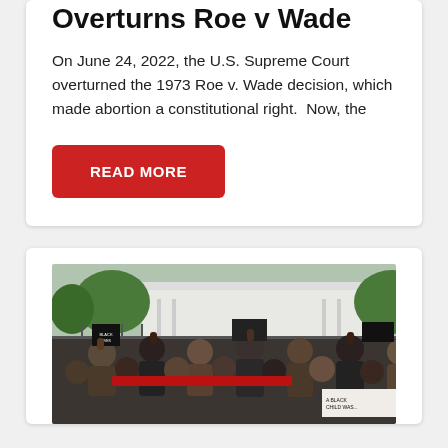Overturns Roe v Wade
On June 24, 2022, the U.S. Supreme Court overturned the 1973 Roe v. Wade decision, which made abortion a constitutional right.  Now, the
READ MORE
[Figure (photo): Protest crowd outside the White House with raised fists and signs reading 'Black', 'A Black Child Was...' etc.]